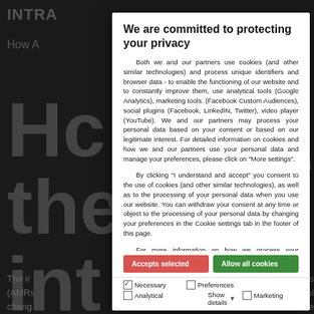[Figure (screenshot): Dark background website with large text 'Hc the int' and partial text visible around a privacy consent modal dialog.]
We are committed to protecting your privacy
Both we and our partners use cookies (and other similar technologies) and process unique identifiers and browser data - to enable the functioning of our website and to constantly improve them, use analytical tools (Google Analytics), marketing tools. (Facebook Custom Audiences), social plugins (Facebook, LinkedIN, Twitter), video player (YouTube). We and our partners may process your personal data based on your consent or based on our legitimate interest. For detailed information on cookies and how we and our partners use your personal data and manage your preferences, please click on "More settings".
By clicking "I understand and accept" you consent to the use of cookies (and other similar technologies), as well as to the processing of your personal data when you use our website. You can withdraw your consent at any time or object to the processing of your personal data by changing your preferences in the Cookie settings tab in the footer of this page.
For more information on how we process your personal data can be found in the Privacy Policy.
Accepts selected | Allow all cookies | Necessary | Preferences | Analytical | Marketing | Show details